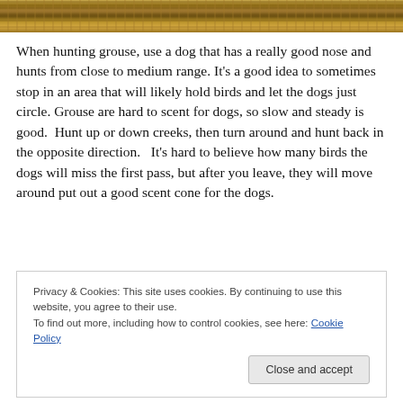[Figure (photo): Photograph of dry grass or straw field, shown as a horizontal strip at the top of the page.]
When hunting grouse, use a dog that has a really good nose and hunts from close to medium range. It's a good idea to sometimes stop in an area that will likely hold birds and let the dogs just circle. Grouse are hard to scent for dogs, so slow and steady is good.  Hunt up or down creeks, then turn around and hunt back in the opposite direction.   It's hard to believe how many birds the dogs will miss the first pass, but after you leave, they will move around put out a good scent cone for the dogs.
Privacy & Cookies: This site uses cookies. By continuing to use this website, you agree to their use.
To find out more, including how to control cookies, see here: Cookie Policy
Close and accept